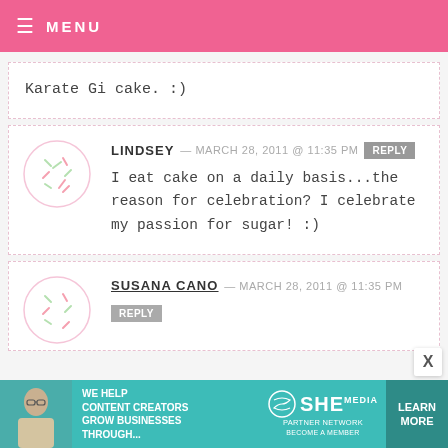≡ MENU
Karate Gi cake. :)
LINDSEY — MARCH 28, 2011 @ 11:35 PM REPLY
I eat cake on a daily basis...the reason for celebration? I celebrate my passion for sugar! :)
SUSANA CANO — MARCH 28, 2011 @ 11:35 PM REPLY
[Figure (infographic): Advertisement banner: teal background with a woman photo, text 'WE HELP CONTENT CREATORS GROW BUSINESSES THROUGH...', SHE Partner Network logo, and a Learn More button]